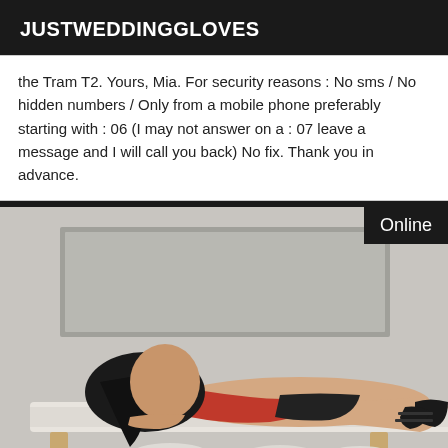JUSTWEDDINGGLOVES
the Tram T2. Yours, Mia. For security reasons : No sms / No hidden numbers / Only from a mobile phone preferably starting with : 06 (I may not answer on a : 07 leave a message and I will call you back) No fix. Thank you in advance.
[Figure (photo): A woman posed on a massage table wearing red top and black shorts with heels. An 'Online' badge is visible in the top-right corner of the image.]